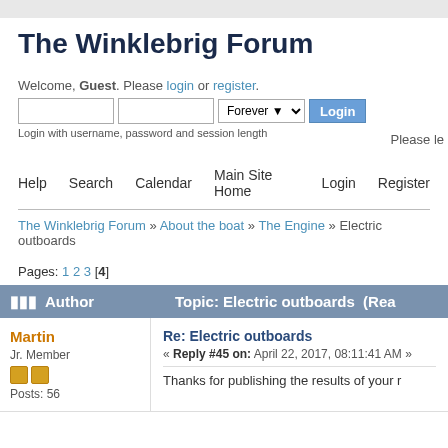The Winklebrig Forum
Welcome, Guest. Please login or register.
Login with username, password and session length
Please le
Help   Search   Calendar   Main Site Home   Login   Register
The Winklebrig Forum » About the boat » The Engine » Electric outboards
Pages: 1 2 3 [4]
Author   Topic: Electric outboards  (Rea
Martin
Jr. Member
Posts: 56
Re: Electric outboards
« Reply #45 on: April 22, 2017, 08:11:41 AM »
Thanks for publishing the results of your r